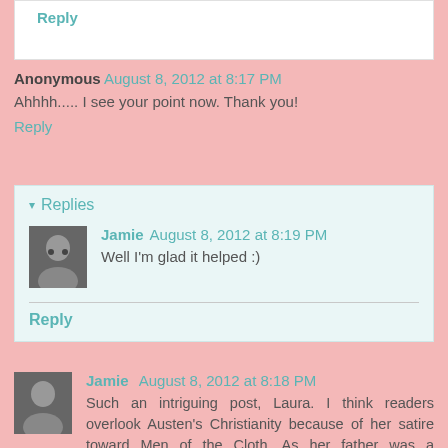Reply
Anonymous  August 8, 2012 at 8:17 PM
Ahhhh..... I see your point now. Thank you!
Reply
Replies
Jamie  August 8, 2012 at 8:19 PM
Well I'm glad it helped :)
Reply
Jamie  August 8, 2012 at 8:18 PM
Such an intriguing post, Laura. I think readers overlook Austen's Christianity because of her satire toward Men of the Cloth. As her father was a clergyman, Austen would've been exposed to a number of self-righteous, hypocritical